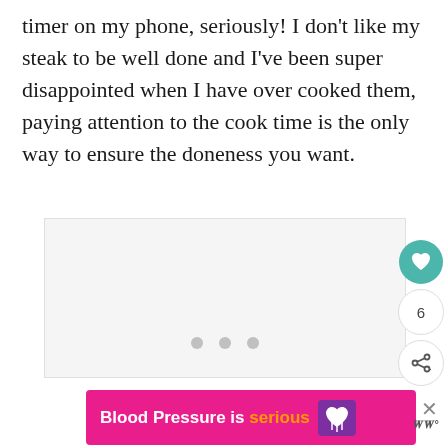timer on my phone, seriously! I don't like my steak to be well done and I've been super disappointed when I have over cooked them, paying attention to the cook time is the only way to ensure the doneness you want.
[Figure (other): Gray placeholder image area with three gray dots (loading indicator) in the center. Action buttons on the right side: a teal heart/favorite button, a count showing 6, and a share button.]
[Figure (other): Pink advertisement banner reading 'Blood Pressure is serious' with an orange-colored word 'serious' and a purple heart icon with lines. An X close button and WW logo appear to the right.]